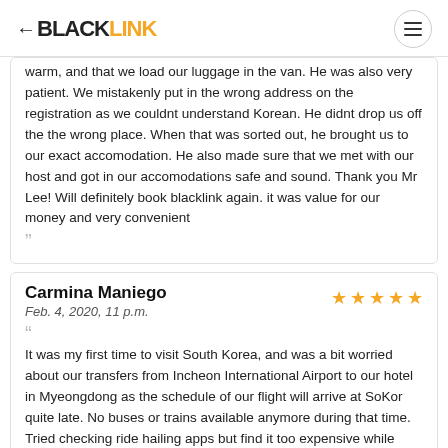BLACKLINK
warm, and that we load our luggage in the van. He was also very patient. We mistakenly put in the wrong address on the registration as we couldnt understand Korean. He didnt drop us off the the wrong place. When that was sorted out, he brought us to our exact accomodation. He also made sure that we met with our host and got in our accomodations safe and sound. Thank you Mr Lee! Will definitely book blacklink again. it was value for our money and very convenient
Carmina Maniego
Feb. 4, 2020, 11 p.m.
It was my first time to visit South Korea, and was a bit worried about our transfers from Incheon International Airport to our hotel in Myeongdong as the schedule of our flight will arrive at SoKor quite late. No buses or trains available anymore during that time. Tried checking ride hailing apps but find it too expensive while deals from other travel booking sites but there were a lot of restrictions and add-ons. Good thing I came across Blacklink when I tried searching online. To be honest I was a bit hesitant since it